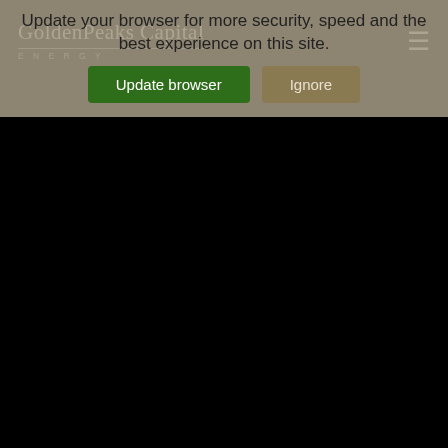GoldenPeaks Capital ENERGY
Update your browser for more security, speed and the best experience on this site.
Update browser   Ignore